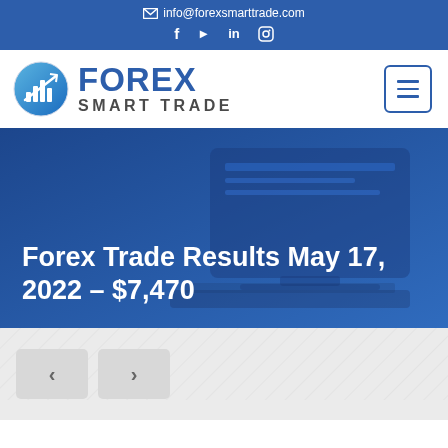✉ info@forexsmarttrade.com
[Figure (logo): Forex Smart Trade logo with circular chart icon and blue text FOREX SMART TRADE]
Forex Trade Results May 17, 2022 – $7,470
[Figure (screenshot): Hero banner with blurred trading monitor background and blue overlay]